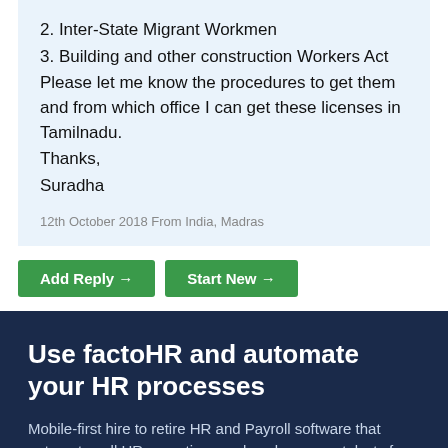2. Inter-State Migrant Workmen
3. Building and other construction Workers Act
Please let me know the procedures to get them and from which office I can get these licenses in Tamilnadu.
Thanks,
Suradha
12th October 2018 From India, Madras
Add Reply → | Start New →
Use factoHR and automate your HR processes
Mobile-first hire to retire HR and Payroll software that automates all HR operations and works as a catalysts for your organisational growth.
Explore Details & Take Guided Trial